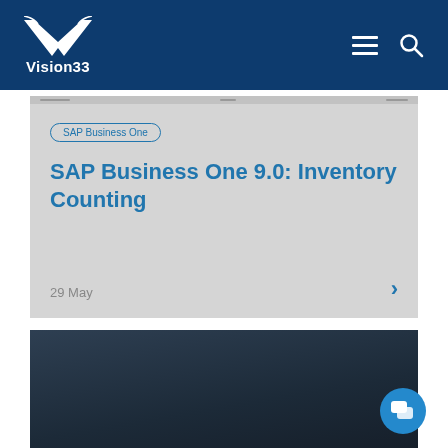[Figure (logo): Vision33 logo with white V chevron and company name on dark blue header background]
[Figure (screenshot): Light grey card showing SAP Business One category tag, title 'SAP Business One 9.0: Inventory Counting', date '29 May', and a right arrow navigation chevron]
[Figure (photo): Dark navy/charcoal textured background card, partially visible at the bottom of the page]